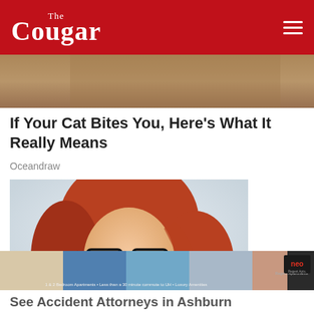The Cougar
[Figure (photo): Cropped top portion of a cat or animal photo visible at the top of the article]
If Your Cat Bites You, Here’s What It Really Means
Oceandraw
[Figure (photo): Portrait photo of a smiling red-haired woman wearing black-framed glasses against a light background]
[Figure (photo): Advertisement banner showing apartment lifestyle images with neo logo and text: 1 & 2 Bedroom Apartments • Less than a 30 minute commute to UH • Luxury Amenities]
See Accident Attorneys in Ashburn